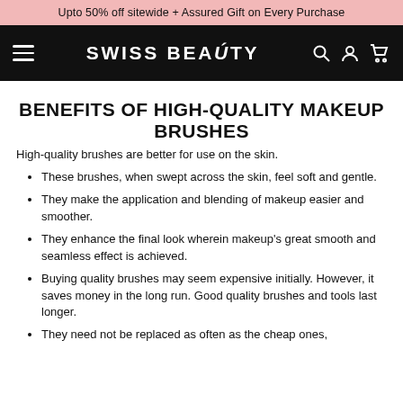Upto 50% off sitewide + Assured Gift on Every Purchase
[Figure (logo): Swiss Beauty website navigation bar with hamburger menu, Swiss Beauty logo in white on black background, and search/account/cart icons]
BENEFITS OF HIGH-QUALITY MAKEUP BRUSHES
High-quality brushes are better for use on the skin.
These brushes, when swept across the skin, feel soft and gentle.
They make the application and blending of makeup easier and smoother.
They enhance the final look wherein makeup's great smooth and seamless effect is achieved.
Buying quality brushes may seem expensive initially. However, it saves money in the long run. Good quality brushes and tools last longer.
They need not be replaced as often as the cheap ones, they…